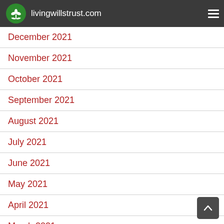livingwillstrust.com
December 2021
November 2021
October 2021
September 2021
August 2021
July 2021
June 2021
May 2021
April 2021
March 2021
February 2021